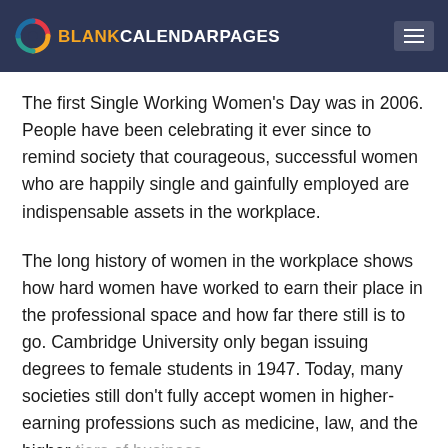BLANKCALENDARPAGES
The first Single Working Women's Day was in 2006. People have been celebrating it ever since to remind society that courageous, successful women who are happily single and gainfully employed are indispensable assets in the workplace.
The long history of women in the workplace shows how hard women have worked to earn their place in the professional space and how far there still is to go. Cambridge University only began issuing degrees to female students in 1947. Today, many societies still don't fully accept women in higher-earning professions such as medicine, law, and the higher tiers of business.